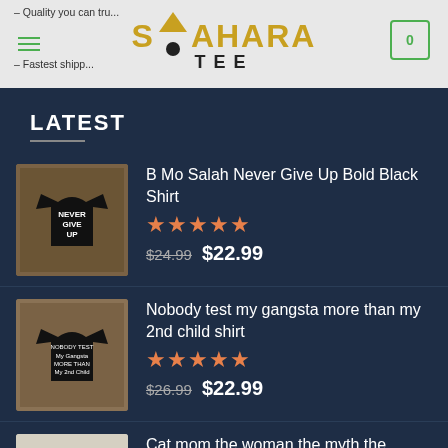SAHARA TEE – Quality you can trust. Fastest shipping.
LATEST
B Mo Salah Never Give Up Bold Black Shirt – Rating: 5 stars – Original price: $24.99 – Sale price: $22.99
Nobody test my gangsta more than my 2nd child shirt – Rating: 5 stars – Original price: $26.99 – Sale price: $22.99
Cat mom the woman the myth the legend vintage shirt – Rating: 5 stars – Sale price shown